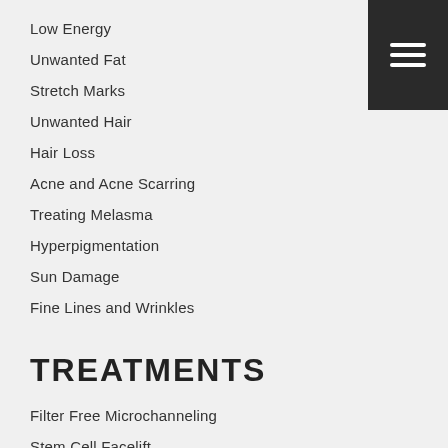Low Energy
Unwanted Fat
Stretch Marks
Unwanted Hair
Hair Loss
Acne and Acne Scarring
Treating Melasma
Hyperpigmentation
Sun Damage
Fine Lines and Wrinkles
TREATMENTS
Filter Free Microchanneling
Stem Cell Facelift
Plasma Pen Eyelid Lift
Thread Facelift
Botox Neurotoxin Injections
Dermal Fillers
Kybella®
Microblading
Hydrafacial+ With Dermaplaning